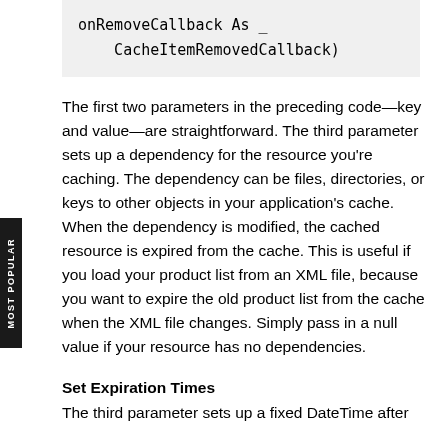onRemoveCallback As _
    CacheItemRemovedCallback)
The first two parameters in the preceding code—key and value—are straightforward. The third parameter sets up a dependency for the resource you're caching. The dependency can be files, directories, or keys to other objects in your application's cache. When the dependency is modified, the cached resource is expired from the cache. This is useful if you load your product list from an XML file, because you want to expire the old product list from the cache when the XML file changes. Simply pass in a null value if your resource has no dependencies.
Set Expiration Times
The third parameter sets up a fixed DateTime after